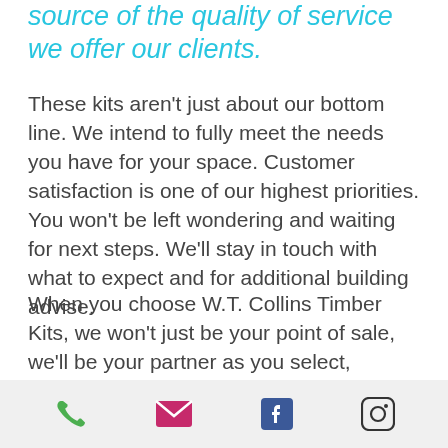source of the quality of service we offer our clients.
These kits aren't just about our bottom line. We intend to fully meet the needs you have for your space. Customer satisfaction is one of our highest priorities. You won't be left wondering and waiting for next steps. We'll stay in touch with what to expect and for additional building advise.
When you choose W.T. Collins Timber Kits, we won't just be your point of sale, we'll be your partner as you select, purchase, and build your kit.
Phone | Email | Facebook | Instagram